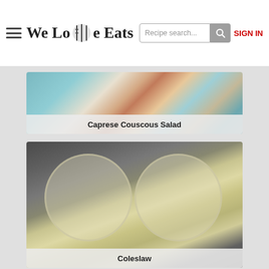We Love Eats — Recipe search... SIGN IN
[Figure (photo): Photo of Caprese Couscous Salad in a bowl with tomatoes and couscous]
Caprese Couscous Salad
[Figure (photo): Photo of Coleslaw in two plastic containers on a granite countertop]
Coleslaw
[Figure (photo): Photo of pasta salad with red tomatoes and green pasta in a metal bowl]